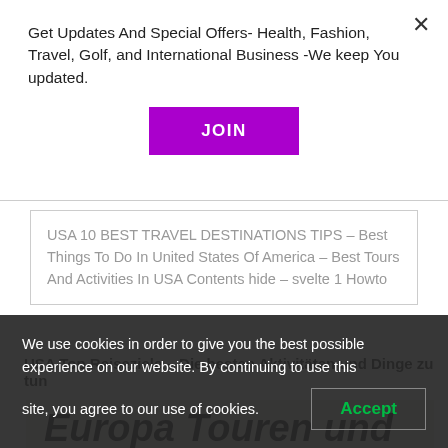Get Updates And Special Offers- Health, Fashion, Travel, Golf, and International Business -We keep You updated.
JOIN
USA 10 BEST TRAVEL DESTINATIONS TIPS – Best Things To Do In United States Of America – Best Tours And Activities In USA Contents hide – svelte 1 Howto
USA Top Reiseziele – Die besten Aktivitäten und Dinge zu tun
Europa Touren und
We use cookies in order to give you the best possible experience on our website. By continuing to use this site, you agree to our use of cookies.
Accept